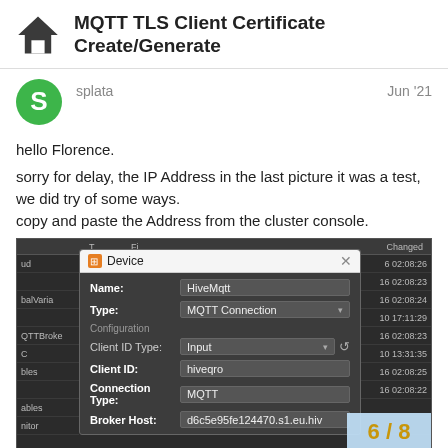MQTT TLS Client Certificate Create/Generate
splata
Jun '21
hello Florence.
sorry for delay, the IP Address in the last picture it was a test, we did try of some ways.
copy and paste the Address from the cluster console.
[Figure (screenshot): Screenshot of a dark-themed IoT device configuration dialog showing: Name: HiveMqtt, Type: MQTT Connection, Configuration section with Client ID Type: Input, Client ID: hiveqro, Connection Type: MQTT, Broker Host: d6c5e95fe124470.s1.eu.hiv... with timestamps in right column and a 6/8 page indicator overlay.]